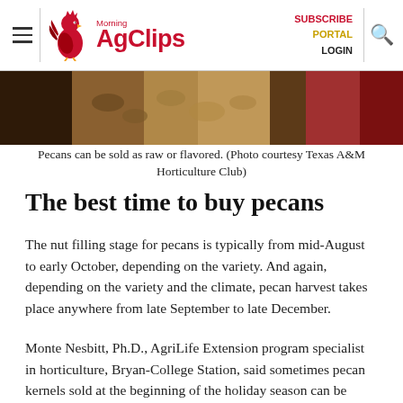Morning AgClips — SUBSCRIBE PORTAL LOGIN
[Figure (photo): Close-up photo of pecans in packaging, with a person in red in the background]
Pecans can be sold as raw or flavored. (Photo courtesy Texas A&M Horticulture Club)
The best time to buy pecans
The nut filling stage for pecans is typically from mid-August to early October, depending on the variety. And again, depending on the variety and the climate, pecan harvest takes place anywhere from late September to late December.
Monte Nesbitt, Ph.D., AgriLife Extension program specialist in horticulture, Bryan-College Station, said sometimes pecan kernels sold at the beginning of the holiday season can be “holdovers” from a previous harvest.